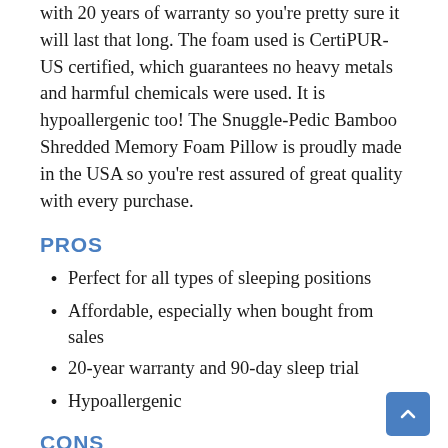with 20 years of warranty so you're pretty sure it will last that long. The foam used is CertiPUR-US certified, which guarantees no heavy metals and harmful chemicals were used. It is hypoallergenic too! The Snuggle-Pedic Bamboo Shredded Memory Foam Pillow is proudly made in the USA so you're rest assured of great quality with every purchase.
PROS
Perfect for all types of sleeping positions
Affordable, especially when bought from sales
20-year warranty and 90-day sleep trial
Hypoallergenic
CONS
Some owners would say that it is not as cool as they expected it to be